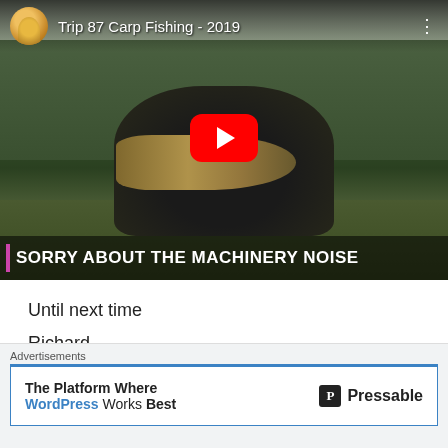[Figure (screenshot): YouTube video thumbnail showing a man holding a large carp fish outdoors. Title reads 'Trip 87 Carp Fishing - 2019'. Red YouTube play button in center. Bottom caption bar reads 'SORRY ABOUT THE MACHINERY NOISE' with a pink/magenta accent bar on the left.]
Until next time
Richard
Search eBay
[Figure (screenshot): Advertisement banner. Label 'Advertisements' at top. Ad reads 'The Platform Where WordPress Works Best' with Pressable logo on right.]